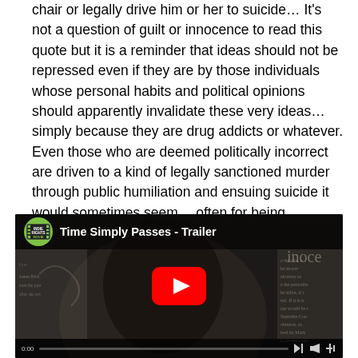chair or legally drive him or her to suicide… It's not a question of guilt or innocence to read this quote but it is a reminder that ideas should not be repressed even if they are by those individuals whose personal habits and political opinions should apparently invalidate these very ideas… simply because they are drug addicts or whatever. Even those who are deemed politically incorrect are driven to a kind of legally sanctioned murder through public humiliation and ensuing suicide it would sometimes seem… often for being misunderstood or unnecessarily focussed on by the media.
[Figure (screenshot): YouTube video thumbnail for 'Time Simply Passes - Trailer' showing a dark silhouette of a person's face against a collage of newspaper clippings. An Indie Rights Movies logo appears in the top-left corner. A red YouTube play button is centered in the frame.]